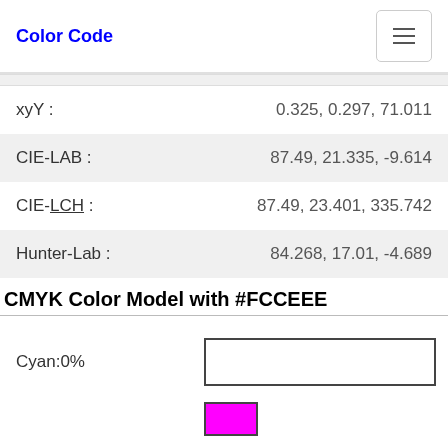Color Code
| Property | Value |
| --- | --- |
| xyY : | 0.325, 0.297, 71.011 |
| CIE-LAB : | 87.49, 21.335, -9.614 |
| CIE-LCH : | 87.49, 23.401, 335.742 |
| Hunter-Lab : | 84.268, 17.01, -4.689 |
CMYK Color Model with #FCCEEE
Cyan:0%
[Figure (infographic): Cyan 0% bar — white/empty bar with black border]
[Figure (infographic): Magenta bar — partial magenta fill with black border]